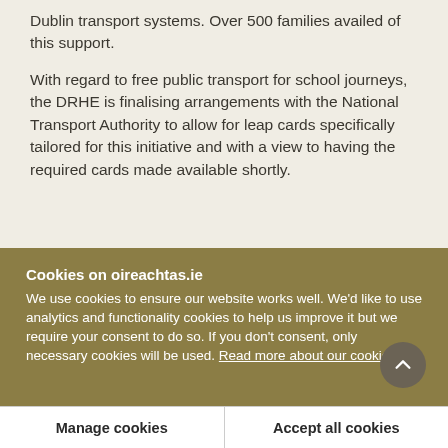Dublin transport systems. Over 500 families availed of this support.
With regard to free public transport for school journeys, the DRHE is finalising arrangements with the National Transport Authority to allow for leap cards specifically tailored for this initiative and with a view to having the required cards made available shortly.
Cookies on oireachtas.ie
We use cookies to ensure our website works well. We'd like to use analytics and functionality cookies to help us improve it but we require your consent to do so. If you don't consent, only necessary cookies will be used. Read more about our cookies
Manage cookies
Accept all cookies